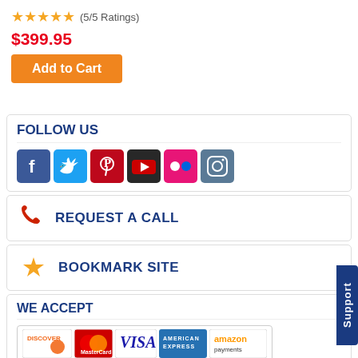★★★★★ (5/5 Ratings)
$399.95
Add to Cart
FOLLOW US
[Figure (infographic): Social media icons: Facebook, Twitter, Pinterest, YouTube, Flickr, Instagram]
[Figure (infographic): Phone icon with text REQUEST A CALL]
[Figure (infographic): Star icon with text BOOKMARK SITE]
WE ACCEPT
[Figure (infographic): Payment method icons: Discover, MasterCard, Visa, American Express, Amazon Payments]
[Figure (infographic): Verified badge, tag icon, SSL secure badge, Support tab]